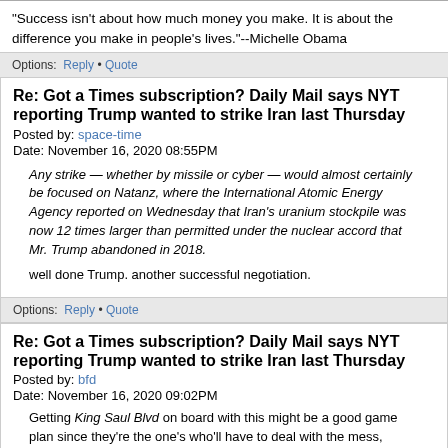"Success isn't about how much money you make. It is about the difference you make in people's lives."--Michelle Obama
Options: Reply • Quote
Re: Got a Times subscription? Daily Mail says NYT reporting Trump wanted to strike Iran last Thursday
Posted by: space-time
Date: November 16, 2020 08:55PM
Any strike — whether by missile or cyber — would almost certainly be focused on Natanz, where the International Atomic Energy Agency reported on Wednesday that Iran's uranium stockpile was now 12 times larger than permitted under the nuclear accord that Mr. Trump abandoned in 2018.
well done Trump. another successful negotiation.
Options: Reply • Quote
Re: Got a Times subscription? Daily Mail says NYT reporting Trump wanted to strike Iran last Thursday
Posted by: bfd
Date: November 16, 2020 09:02PM
Getting King Saul Blvd on board with this might be a good game plan since they're the one's who'll have to deal with the mess, Donnie.
Options: Reply • Quote